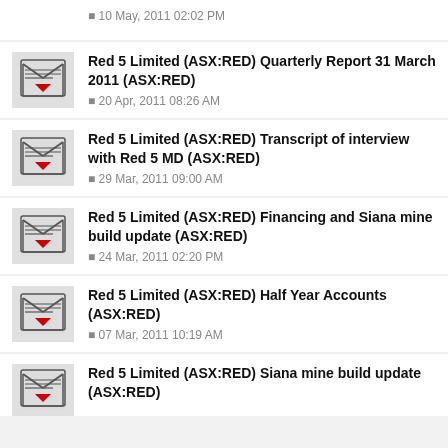10 May, 2011 02:02 PM
Red 5 Limited (ASX:RED) Quarterly Report 31 March 2011 (ASX:RED)
20 Apr, 2011 08:26 AM
Red 5 Limited (ASX:RED) Transcript of interview with Red 5 MD (ASX:RED)
29 Mar, 2011 09:00 AM
Red 5 Limited (ASX:RED) Financing and Siana mine build update (ASX:RED)
24 Mar, 2011 02:20 PM
Red 5 Limited (ASX:RED) Half Year Accounts (ASX:RED)
07 Mar, 2011 10:19 AM
Red 5 Limited (ASX:RED) Siana mine build update (ASX:RED)